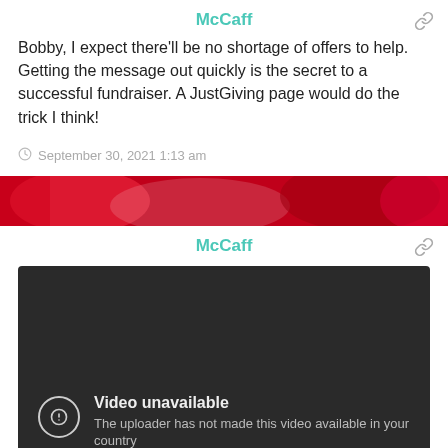McCaff
Bobby, I expect there'll be no shortage of offers to help. Getting the message out quickly is the secret to a successful fundraiser. A JustGiving page would do the trick I think!
September 30, 2021 1:13 am
McCaff
[Figure (screenshot): Embedded video player showing 'Video unavailable – The uploader has not made this video available in your country']